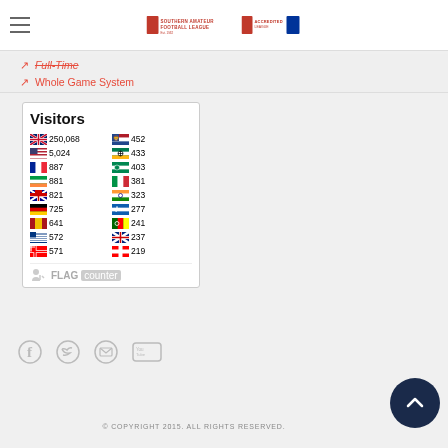Southern Amateur Football League | Accredited League
Full-Time
Whole Game System
[Figure (infographic): Flag counter widget showing Visitors count by country. UK 250,068 | Netherlands 452 | USA 5,024 | South Africa 433 | France 887 | Nigeria 403 | Ireland 881 | Italy 381 | Australia 821 | India 323 | Germany 725 | Greece 277 | Spain 641 | Portugal 241 | Finland 572 | New Zealand 237 | Canada 571 | Switzerland 219]
© COPYRIGHT 2015. ALL RIGHTS RESERVED.